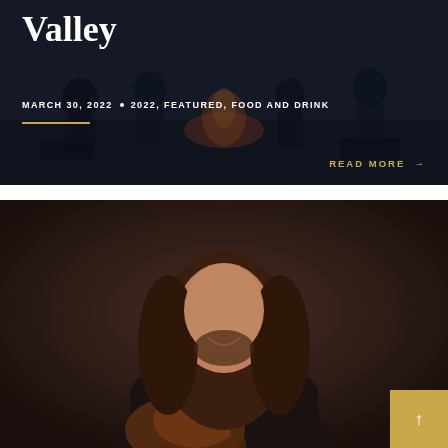[Figure (photo): Dark-toned outdoor group scene around a campfire at dusk with people in chairs, serving as background for a blog card titled 'Valley']
Valley
MARCH 30, 2022 • 2022, FEATURED, FOOD AND DRINK
READ MORE →
[Figure (photo): Portrait photo of a smiling man with long curly hair holding an acoustic guitar, against a dark brownish studio background]